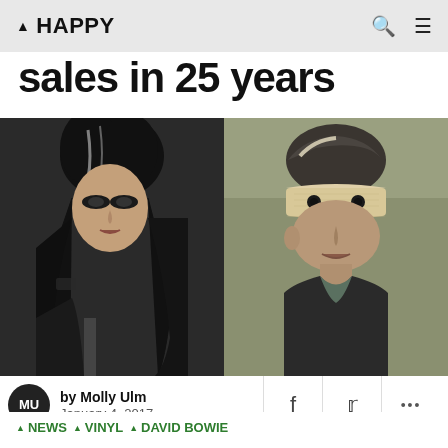▲ HAPPY
sales in 25 years
[Figure (photo): Left half: black and white photo of Amy Winehouse with large beehive hair, dramatic eye makeup, tattoos, holding something, dark background. Right half: color-tinted photo of David Bowie with bandages wrapped around his eyes, wearing a dark jacket, looking upward.]
by Molly Ulm
January 4, 2017
▲ NEWS
▲ VINYL
▲ DAVID BOWIE